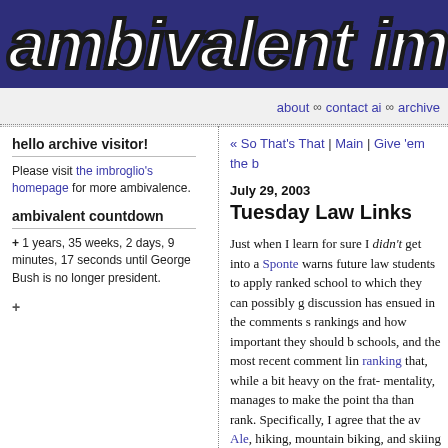ambivalent im
about ∞ contact ai ∞ archive
hello archive visitor!
Please visit the imbroglio's homepage for more ambivalence.
ambivalent countdown
+ 1 years, 35 weeks, 2 days, 9 minutes, 17 seconds until George Bush is no longer president.
+
« So That's That | Main | Give 'em the b
July 29, 2003
Tuesday Law Links
Just when I learn for sure I didn't get into a Sponte warns future law students to apply ranked school to which they can possibly g discussion has ensued in the comments s rankings and how important they should b schools, and the most recent comment lin ranking that, while a bit heavy on the frat- mentality, manages to make the point tha than rank. Specifically, I agree that the av Ale, hiking, mountain biking, and skiing sh figured into the next U.S. News rankings. are most readily available in the Rockies, apply to any school in Colorado or Montan